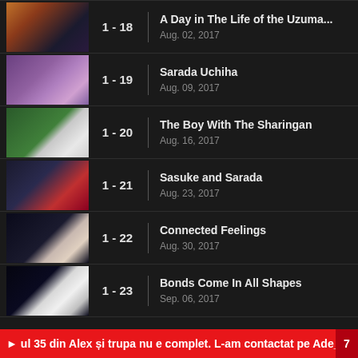1 - 18 | A Day in The Life of the Uzuma... | Aug. 02, 2017
1 - 19 | Sarada Uchiha | Aug. 09, 2017
1 - 20 | The Boy With The Sharingan | Aug. 16, 2017
1 - 21 | Sasuke and Sarada | Aug. 23, 2017
1 - 22 | Connected Feelings | Aug. 30, 2017
1 - 23 | Bonds Come In All Shapes | Sep. 06, 2017
ul 35 din Alex și trupa nu e complet. L-am contactat pe Ade_ 7